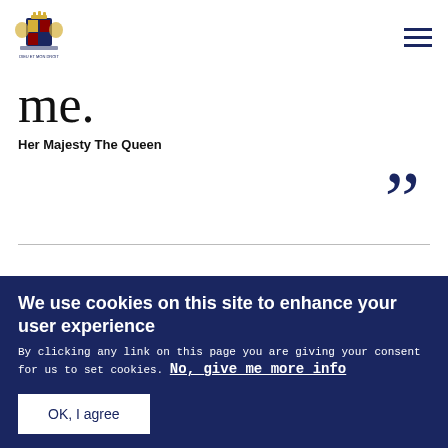[Figure (logo): UK Royal Coat of Arms logo in dark blue]
me.
Her Majesty The Queen
”
We use cookies on this site to enhance your user experience
By clicking any link on this page you are giving your consent for us to set cookies. No, give me more info
OK, I agree